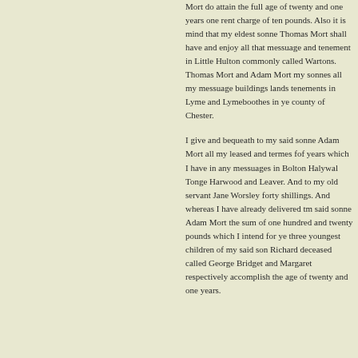Mort do attain the full age of twenty and one years one rent charge of ten pounds. Also it is mind that my eldest sonne Thomas Mort shall have and enjoy all that messuage and tenement in Little Hulton commonly called Wartons. Thomas Mort and Adam Mort my sonnes all my messuage buildings lands tenements in Lyme and Lymeboothes in ye county of Chester.
I give and bequeath to my said sonne Adam Mort all my leased and termes fof years which I have in any messuages in Bolton Halywal Tonge Harwood and Leaver. And to my old servant Jane Worsley forty shillings. And whereas I have already delivered tm said sonne Adam Mort the sum of one hundred and twenty pounds which I intend for ye three youngest children of my said son Richard deceased called George Bridget and Margaret respectively accomplish the age of twenty and one years.